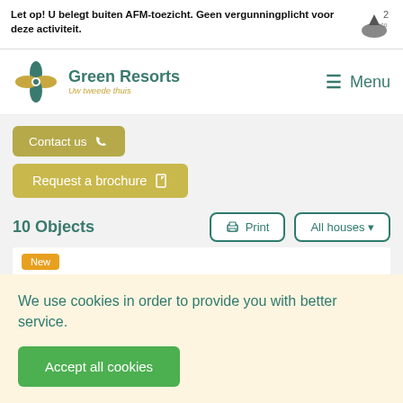Let op! U belegt buiten AFM-toezicht. Geen vergunningplicht voor deze activiteit.
[Figure (logo): Green Resorts logo with tagline 'Uw tweede thuis']
Menu
Contact us
Request a brochure
10 Objects
Print
All houses
New
We use cookies in order to provide you with better service.
Accept all cookies